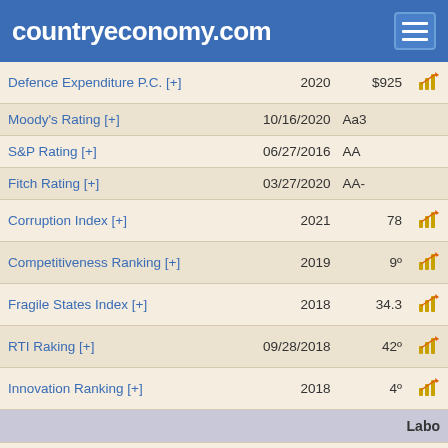countryeconomy.com
| Indicator | Date | Value |  |
| --- | --- | --- | --- |
| Defence Expenditure P.C. [+] | 2020 | $925 | chart |
| Moody's Rating [+] | 10/16/2020 | Aa3 |  |
| S&P Rating [+] | 06/27/2016 | AA |  |
| Fitch Rating [+] | 03/27/2020 | AA- |  |
| Corruption Index [+] | 2021 | 78 | chart |
| Competitiveness Ranking [+] | 2019 | 9º | chart |
| Fragile States Index [+] | 2018 | 34.3 | chart |
| RTI Raking [+] | 09/28/2018 | 42º | chart |
| Innovation Ranking [+] | 2018 | 4º | chart |
|  |  | Labo |  |
| Unemployment Rate [+] | June 2022 | 3.8% |  |
| Unemployment rate [+] | 2020Q3 | 4.9% |  |
| Unemployed [+] | 2020Q3 | 1,650K |  |
| NMW [+] | 2022 | $2,184.6 | chart |
| Average Wage [+] | 2019 | $52,454 |  |